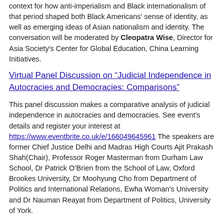context for how anti-imperialism and Black internationalism of that period shaped both Black Americans' sense of identity, as well as emerging ideas of Asian nationalism and identity. The conversation will be moderated by Cleopatra Wise, Director for Asia Society's Center for Global Education, China Learning Initiatives.
Virtual Panel Discussion on “Judicial Independence in Autocracies and Democracies: Comparisons”
This panel discussion makes a comparative analysis of judicial independence in autocracies and democracies. See event’s details and register your interest at https://www.eventbrite.co.uk/e/166049645961 The speakers are former Chief Justice Delhi and Madras High Courts Ajit Prakash Shah(Chair), Professor Roger Masterman from Durham Law School, Dr Patrick O’Brien from the School of Law, Oxford Brookes University, Dr Moohyung Cho from Department of Politics and International Relations, Ewha Woman’s University and Dr Nauman Reayat from Department of Politics, University of York.